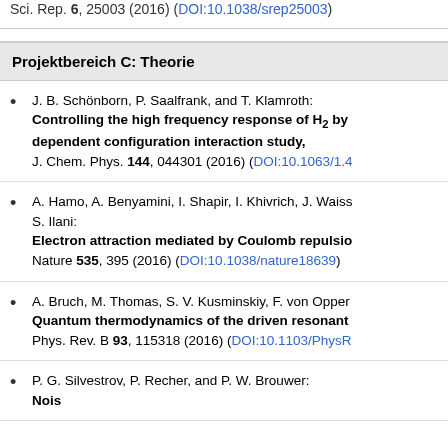Sci. Rep. 6, 25003 (2016) (DOI:10.1038/srep25003)
Projektbereich C: Theorie
J. B. Schönborn, P. Saalfrank, and T. Klamroth: Controlling the high frequency response of H₂ by dependent configuration interaction study, J. Chem. Phys. 144, 044301 (2016) (DOI:10.1063/1.4...)
A. Hamo, A. Benyamini, I. Shapir, I. Khivrich, J. Waiss... S. Ilani: Electron attraction mediated by Coulomb repulsion, Nature 535, 395 (2016) (DOI:10.1038/nature18639)
A. Bruch, M. Thomas, S. V. Kusminskiy, F. von Oppen... Quantum thermodynamics of the driven resonant... Phys. Rev. B 93, 115318 (2016) (DOI:10.1103/PhysR...)
P. G. Silvestrov, P. Recher, and P. W. Brouwer: